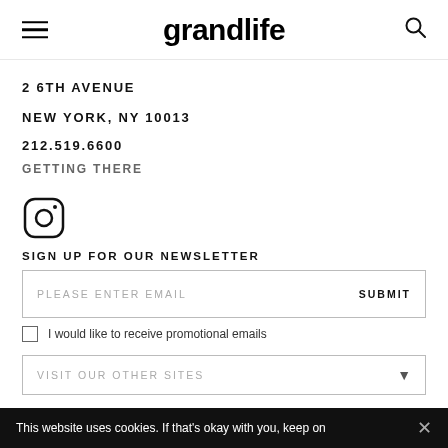grandlife
2 6TH AVENUE
NEW YORK, NY 10013
212.519.6600
GETTING THERE
[Figure (logo): Instagram icon - circle with rounded square and inner circle]
SIGN UP FOR OUR NEWSLETTER
PLEASE ENTER EMAIL
SUBMIT
I would like to receive promotional emails
VISIT OUR OTHER SITES
This website uses cookies. If that's okay with you, keep on